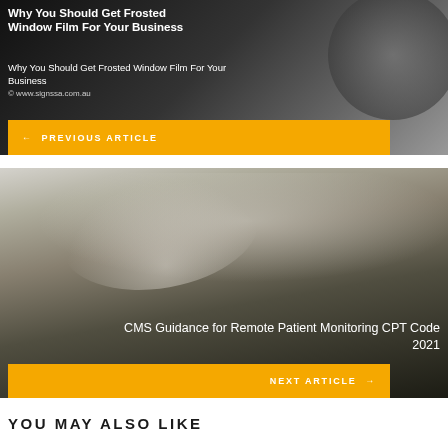[Figure (screenshot): Dark background image with decorative circular element, showing a previous article block with title 'Why You Should Get Frosted Window Film For Your Business']
Why You Should Get Frosted Window Film For Your Business
Why You Should Get Frosted Window Film For Your Business
www.signssa.com.au
← PREVIOUS ARTICLE
[Figure (photo): Hands typing on a keyboard with a document/paper and coffee cup in the background, dark overlay]
CMS Guidance for Remote Patient Monitoring CPT Code 2021
NEXT ARTICLE →
YOU MAY ALSO LIKE